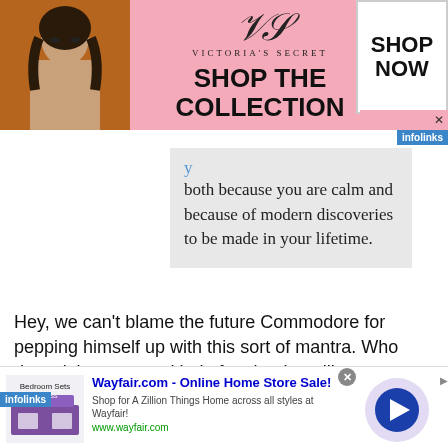[Figure (infographic): Victoria's Secret advertisement banner with model photo, VS logo, SHOP THE COLLECTION text, and SHOP NOW button]
both because you are calm and because of modern discoveries to be made in your lifetime.
Hey, we can't blame the future Commodore for pepping himself up with this sort of mantra. Who doesn't hope some kind of anti-aging pill comes on the market while we're still kicking around? In Hubbard's case that didn't happen, and he fell 126
[Figure (infographic): Wayfair.com Online Home Store Sale advertisement with bedroom furniture thumbnail, title, description and arrow button]